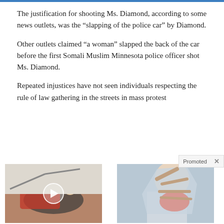The justification for shooting Ms. Diamond, according to some news outlets, was the “slapping of the police car” by Diamond.
Other outlets claimed “a woman” slapped the back of the car before the first Somali Muslim Minnesota police officer shot Ms. Diamond.
Repeated injustices have not seen individuals respecting the rule of law gathering in the streets in mass protest
[Figure (other): Promoted ad unit label with X close button]
[Figure (photo): Ad image showing exercise illustration with play button overlay - How To Reduce Enlarged Prostates Without Surgery Do This Daily, 2,075 views]
[Figure (photo): Ad image showing a woman holding her chest/hand - 4 Warning Signs Of Dementia (#2 Is Scary), 20,492 views]